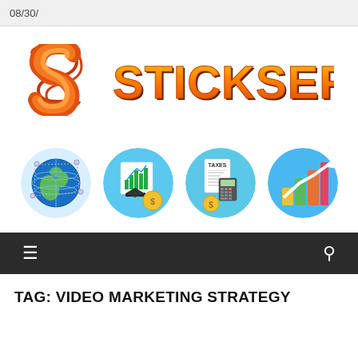08/30/
[Figure (logo): Stickser logo with orange S icon and orange bold STICKSER text with dark outline/shadow effect]
[Figure (infographic): Row of four circular icons: 1) globe/network icon on light blue background, 2) bar chart with graduation cap on blue background, 3) taxes form with calculator on blue background, 4) colorful bar chart with arrow on blue background]
≡   🔍
TAG: VIDEO MARKETING STRATEGY